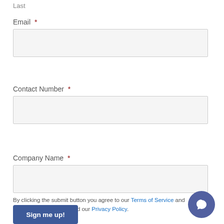Last
Email *
[Figure (other): Empty email input text field with light gray background and border]
Contact Number *
[Figure (other): Empty contact number input text field with light gray background and border]
Company Name *
[Figure (other): Empty company name input text field with light gray background and border]
By clicking the submit button you agree to our Terms of Service and have read and understood our Privacy Policy.
Sign me up!